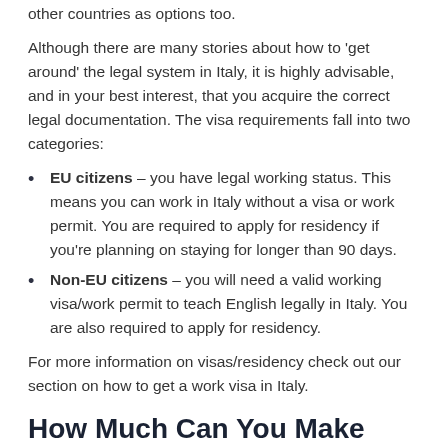other countries as options too.
Although there are many stories about how to 'get around' the legal system in Italy, it is highly advisable, and in your best interest, that you acquire the correct legal documentation. The visa requirements fall into two categories:
EU citizens – you have legal working status. This means you can work in Italy without a visa or work permit. You are required to apply for residency if you're planning on staying for longer than 90 days.
Non-EU citizens – you will need a valid working visa/work permit to teach English legally in Italy. You are also required to apply for residency.
For more information on visas/residency check out our section on how to get a work visa in Italy.
How Much Can You Make Teaching English in Italy?